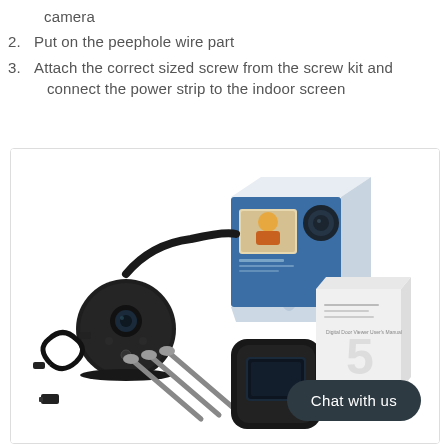camera
2. Put on the peephole wire part
3. Attach the correct sized screw from the screw kit and connect the power strip to the indoor screen
[Figure (photo): Product photo showing smart door viewer kit contents: round black peephole camera unit with cable, USB charging cable, small black indoor screen unit, three screws, product box with blue and white design, user manual booklet, and a 'Chat with us' dark button overlay in the bottom right.]